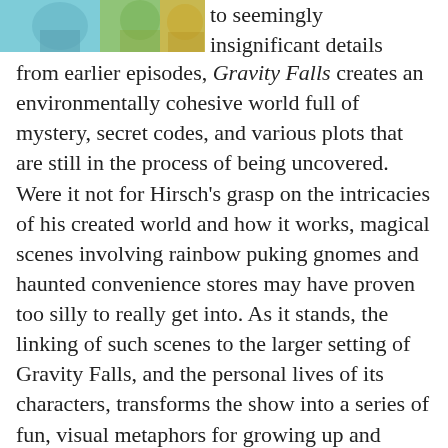[Figure (illustration): Partial illustration showing animated characters, appearing to be a scene from Gravity Falls with teal/blue and yellow-green colors]
to seemingly insignificant details from earlier episodes, Gravity Falls creates an environmentally cohesive world full of mystery, secret codes, and various plots that are still in the process of being uncovered. Were it not for Hirsch’s grasp on the intricacies of his created world and how it works, magical scenes involving rainbow puking gnomes and haunted convenience stores may have proven too silly to really get into. As it stands, the linking of such scenes to the larger setting of Gravity Falls, and the personal lives of its characters, transforms the show into a series of fun, visual metaphors for growing up and doing what’s right.